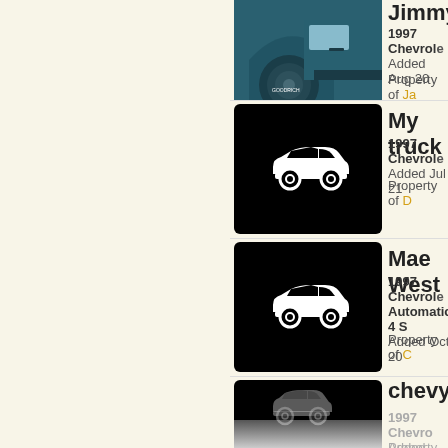[Figure (photo): Partial view of a dark blue 1997 Chevrolet truck/SUV - front wheel and fender visible]
Jimmy
1997 Chevrolet
Added Aug 20
Property of Ja
[Figure (illustration): Black card with white car icon placeholder]
My truck
1997 Chevrolet
Added Jul 21
Property of D
[Figure (illustration): Black card with white car icon placeholder]
Mae West
1997 Chevrolet
Automatic 4 S
Added Oct 20
Property of C
[Figure (illustration): Black card with white car icon placeholder (fading at bottom)]
chevy
1997 Chevro
Added Jun 20
Property of